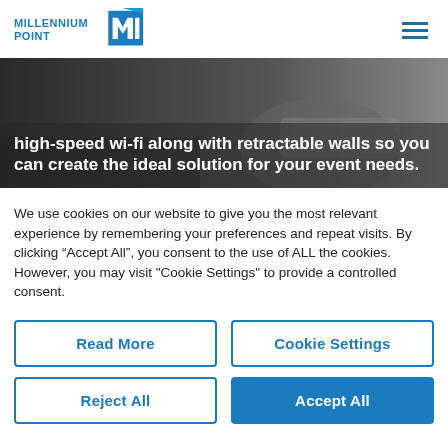[Figure (logo): Millennium Point logo with blue triangle/M-P graphic and text 'MILLENNIUM POINT']
[Figure (photo): Dark banner image with bold white text: 'high-speed wi-fi along with retractable walls so you can create the ideal solution for your event needs.']
We use cookies on our website to give you the most relevant experience by remembering your preferences and repeat visits. By clicking “Accept All”, you consent to the use of ALL the cookies. However, you may visit "Cookie Settings" to provide a controlled consent.
Read More
Cookie Settings
Reject All
Accept All